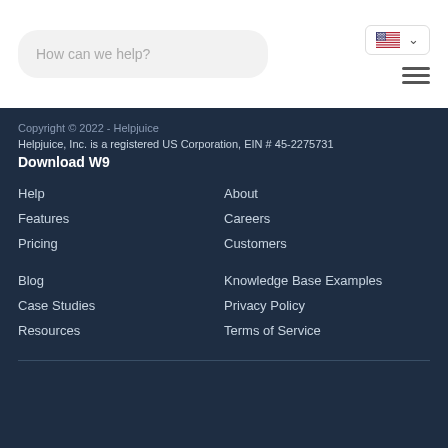[Figure (other): Search box with placeholder text 'How can we help?', language selector with US flag, and hamburger menu icon]
Copyright © 2022 - Helpjuice
Helpjuice, Inc. is a registered US Corporation, EIN # 45-2275731
Download W9
Help
Features
Pricing
About
Careers
Customers
Blog
Case Studies
Resources
Knowledge Base Examples
Privacy Policy
Terms of Service